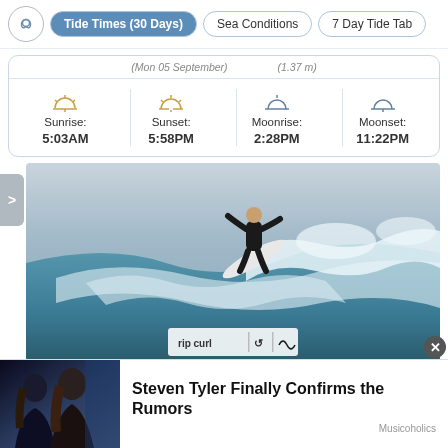Tide Times (30 Days) | Sea Conditions | 7 Day Tide Tab
(Mon 05 September)  (1.37 m)
| Sunrise | Sunset | Moonrise | Moonset |
| --- | --- | --- | --- |
| 5:03AM | 5:58PM | 2:28PM | 11:22PM |
[Figure (photo): Surfer performing an aerial maneuver on a large ocean wave, wearing a black wetsuit and holding a white surfboard. Rip Curl logo strip visible at bottom of image.]
Steven Tyler Finally Confirms the Rumors
Musicoholics